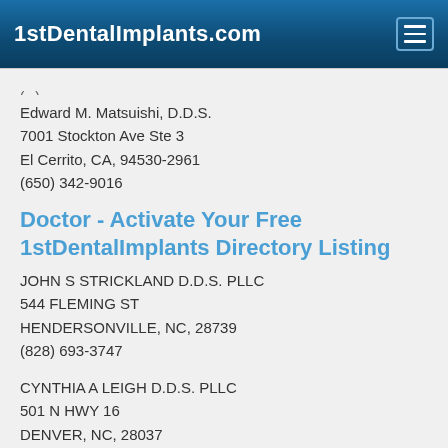1stDentalImplants.com
(partial truncated text at top)
Edward M. Matsuishi, D.D.S.
7001 Stockton Ave Ste 3
El Cerrito, CA, 94530-2961
(650) 342-9016
Doctor - Activate Your Free 1stDentalImplants Directory Listing
JOHN S STRICKLAND D.D.S. PLLC
544 FLEMING ST
HENDERSONVILLE, NC, 28739
(828) 693-3747
CYNTHIA A LEIGH D.D.S. PLLC
501 N HWY 16
DENVER, NC, 28037
(704) 489-2009
Teeth Implants, Close Up and Natural - Is